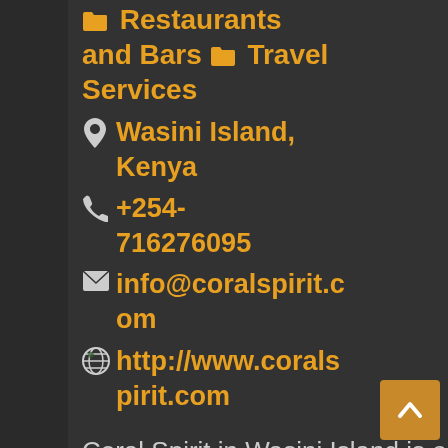🗂 Restaurants and Bars 🗂 Travel Services
📍 Wasini Island, Kenya
📞 +254-716276095
✉ info@coralspirit.com
🌐 http://www.coralspirit.com
Coral Spirit in Wasini Island is end to end, Eco-tourism company, offering the best of Wasini Is...
Wandale Lodge